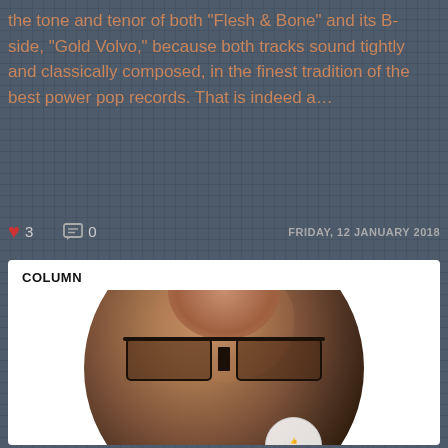the tone and tenor of both "Flesh & Bone" and its B-side, "Gold Volvo," because both tracks sound tightly and classically composed, in the finest tradition of the best power pop records. That is indeed a...
♥ 3   💬 0   FRIDAY, 12 JANUARY 2018
COLUMN
[Figure (photo): Circular cropped portrait photo of a bald middle-aged man wearing dark rectangular glasses, looking slightly upward, with a brick wall background. A small logo/badge is visible in the lower right of the circle.]